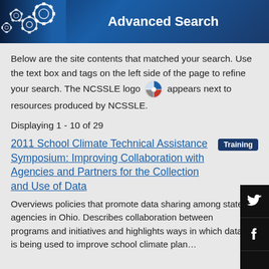Advanced Search
Below are the site contents that matched your search. Use the text box and tags on the left side of the page to refine your search. The NCSSLE logo appears next to resources produced by NCSSLE.
Displaying 1 - 10 of 29
2011 School Climate Technical Assistance Symposium: Improving Collaboration with Agencies and Partners for the Collection and Use of Data
Overviews policies that promote data sharing among state agencies in Ohio. Describes collaboration between programs and initiatives and highlights ways in which data is being used to improve school climate plan...